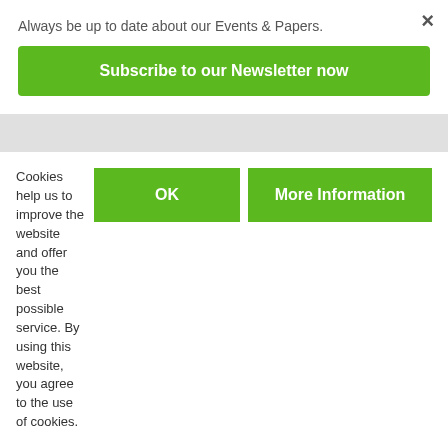Always be up to date about our Events & Papers.
Subscribe to our Newsletter now
BUSINESS CARD
Craftsmen for silk woven pictures
Extrarough
Invitation card
Business card
Cookies help us to improve the website and offer you the best possible service. By using this website, you agree to the use of cookies.
OK
More Information